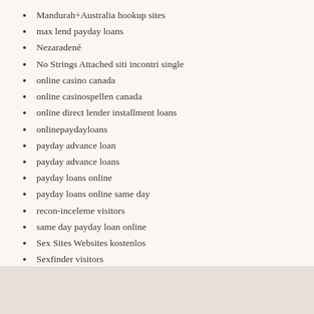Mandurah+Australia hookup sites
max lend payday loans
Nezaradené
No Strings Attached siti incontri single
online casino canada
online casinospellen canada
online direct lender installment loans
onlinepaydayloans
payday advance loan
payday advance loans
payday loans online
payday loans online same day
recon-inceleme visitors
same day payday loan online
Sex Sites Websites kostenlos
Sexfinder visitors
single muslim review
small payday loans
Swapfinder siti incontri single
wire payday loans